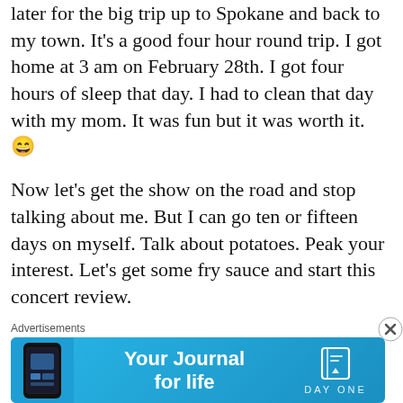later for the big trip up to Spokane and back to my town. It's a good four hour round trip. I got home at 3 am on February 28th. I got four hours of sleep that day. I had to clean that day with my mom. It was fun but it was worth it. 😄
Now let's get the show on the road and stop talking about me. But I can go ten or fifteen days on myself. Talk about potatoes. Peak your interest. Let's get some fry sauce and start this concert review.
My trip up to Spokane was very uneventful. My mom and I didn't know what extent the roads were going to be like. So getting up there was stress full. I of course had to pick up my kid used to babysit and her boyfriend. They were tagging along with my mom and I. It was m…
Advertisements
[Figure (other): Advertisement banner for Day One journal app with blue gradient background, phone mockup on left, 'Your Journal for life' text center, and Day One logo on right.]